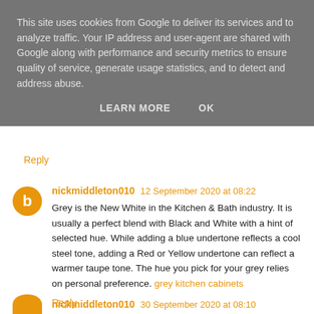This site uses cookies from Google to deliver its services and to analyze traffic. Your IP address and user-agent are shared with Google along with performance and security metrics to ensure quality of service, generate usage statistics, and to detect and address abuse.
LEARN MORE   OK
Reply
nickmiddleton010  12 September 2020 at 08:22
Grey is the New White in the Kitchen & Bath industry. It is usually a perfect blend with Black and White with a hint of selected hue. While adding a blue undertone reflects a cool steel tone, adding a Red or Yellow undertone can reflect a warmer taupe tone. The hue you pick for your grey relies on personal preference. grey kitchen cabinets
Reply
nickmiddleton010  30 September 2020 at 08:10